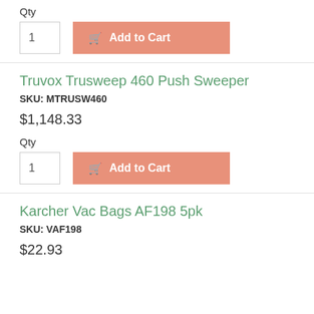Qty
1
Add to Cart
Truvox Trusweep 460 Push Sweeper
SKU: MTRUSW460
$1,148.33
Qty
1
Add to Cart
Karcher Vac Bags AF198 5pk
SKU: VAF198
$22.93